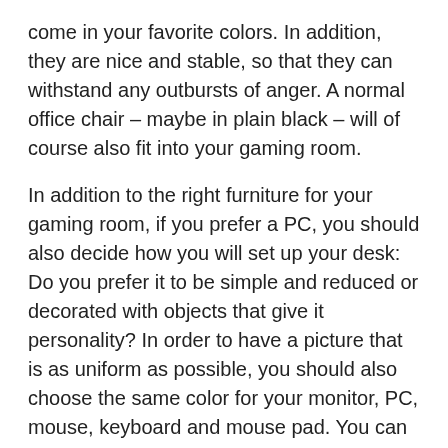come in your favorite colors. In addition, they are nice and stable, so that they can withstand any outbursts of anger. A normal office chair – maybe in plain black – will of course also fit into your gaming room.
In addition to the right furniture for your gaming room, if you prefer a PC, you should also decide how you will set up your desk: Do you prefer it to be simple and reduced or decorated with objects that give it personality? In order to have a picture that is as uniform as possible, you should also choose the same color for your monitor, PC, mouse, keyboard and mouse pad. You can also think about the arrangement of your setup – a symmetrical arrangement of the screen and speakers, for example, has a harmonious effect on our eyes, but an asymmetrical arrangement can also have its appeal.